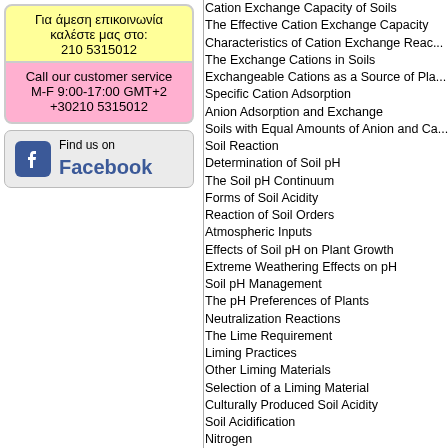Για άμεση επικοινωνία καλέστε μας στο:
210 5315012
Call our customer service M-F 9:00-17:00 GMT+2
+30210 5315012
[Figure (logo): Find us on Facebook button with Facebook logo icon]
Cation Exchange Capacity of Soils
The Effective Cation Exchange Capacity
Characteristics of Cation Exchange Reac...
The Exchange Cations in Soils
Exchangeable Cations as a Source of Pla...
Specific Cation Adsorption
Anion Adsorption and Exchange
Soils with Equal Amounts of Anion and Ca...
Soil Reaction
Determination of Soil pH
The Soil pH Continuum
Forms of Soil Acidity
Reaction of Soil Orders
Atmospheric Inputs
Effects of Soil pH on Plant Growth
Extreme Weathering Effects on pH
Soil pH Management
The pH Preferences of Plants
Neutralization Reactions
The Lime Requirement
Liming Practices
Other Liming Materials
Selection of a Liming Material
Culturally Produced Soil Acidity
Soil Acidification
Nitrogen
The Nitrogen Cycle
Biological Nitrogen Fixation
Mineralization
Nitrification
Immobilization
Denitrification